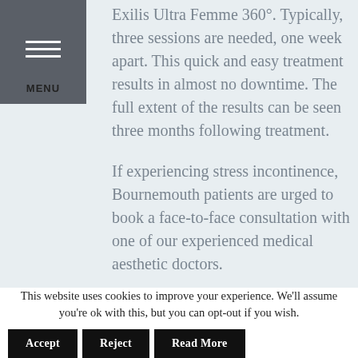Exilis Ultra Femme 360°. Typically, three sessions are needed, one week apart. This quick and easy treatment results in almost no downtime. The full extent of the results can be seen three months following treatment.
If experiencing stress incontinence, Bournemouth patients are urged to book a face-to-face consultation with one of our experienced medical aesthetic doctors.
This website uses cookies to improve your experience. We'll assume you're ok with this, but you can opt-out if you wish.